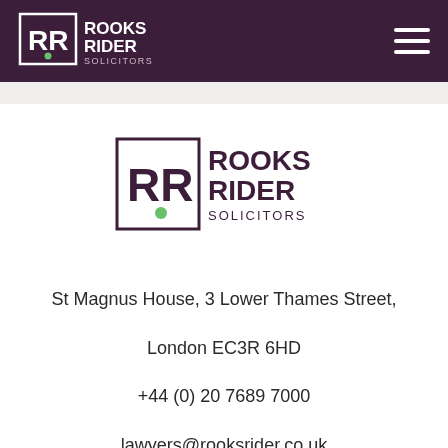[Figure (logo): Rooks Rider Solicitors logo in header - white RR monogram in square bracket style box, white text ROOKS RIDER SOLICITORS on dark purple background]
[Figure (logo): Rooks Rider Solicitors logo centered on page - dark purple RR monogram in square bracket style box with green dot, dark purple text ROOKS RIDER SOLICITORS]
St Magnus House, 3 Lower Thames Street,
London EC3R 6HD
+44 (0) 20 7689 7000
lawyers@rooksrider.co.uk